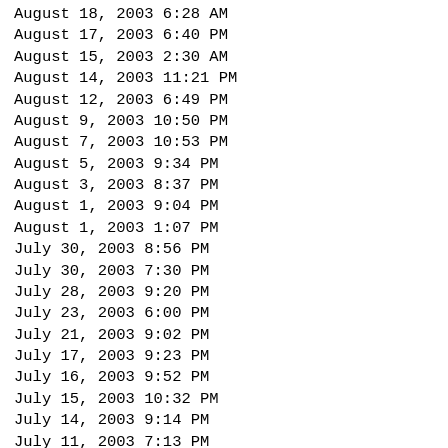August 18, 2003 6:28 AM
August 17, 2003 6:40 PM
August 15, 2003 2:30 AM
August 14, 2003 11:21 PM
August 12, 2003 6:49 PM
August 9, 2003 10:50 PM
August 7, 2003 10:53 PM
August 5, 2003 9:34 PM
August 3, 2003 8:37 PM
August 1, 2003 9:04 PM
August 1, 2003 1:07 PM
July 30, 2003 8:56 PM
July 30, 2003 7:30 PM
July 28, 2003 9:20 PM
July 23, 2003 6:00 PM
July 21, 2003 9:02 PM
July 17, 2003 9:23 PM
July 16, 2003 9:52 PM
July 15, 2003 10:32 PM
July 14, 2003 9:14 PM
July 11, 2003 7:13 PM
July 10, 2003 7:15 PM
July 8, 2003 12:40 AM